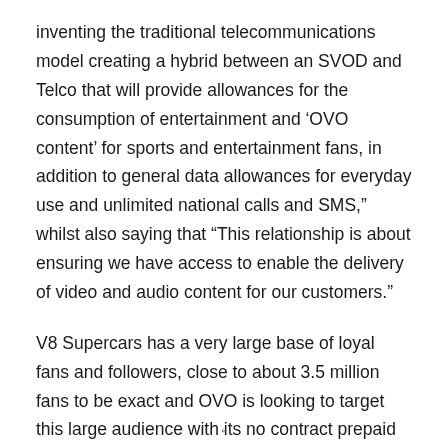inventing the traditional telecommunications model creating a hybrid between an SVOD and Telco that will provide allowances for the consumption of entertainment and 'OVO content' for sports and entertainment fans, in addition to general data allowances for everyday use and unlimited national calls and SMS," whilst also saying that "This relationship is about ensuring we have access to enable the delivery of video and audio content for our customers."
V8 Supercars has a very large base of loyal fans and followers, close to about 3.5 million fans to be exact and OVO is looking to target this large audience with its no contract prepaid plans such as 'OVO Time' for viewing V8s content, meaning customers don't have to worry about data usage when viewing view videos, live audio streams and race statistics.